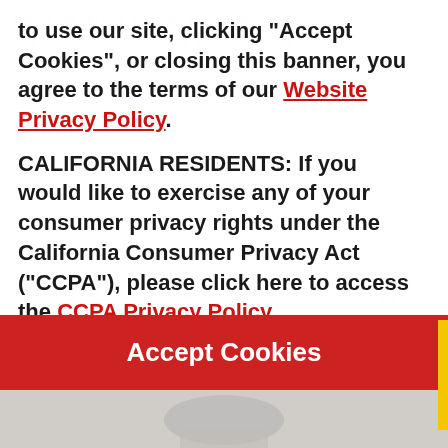to use our site, clicking "Accept Cookies", or closing this banner, you agree to the terms of our Website Privacy Policy.
CALIFORNIA RESIDENTS: If you would like to exercise any of your consumer privacy rights under the California Consumer Privacy Act (“CCPA”), please click here to access the CCPA Privacy Policy.
Accept Cookies